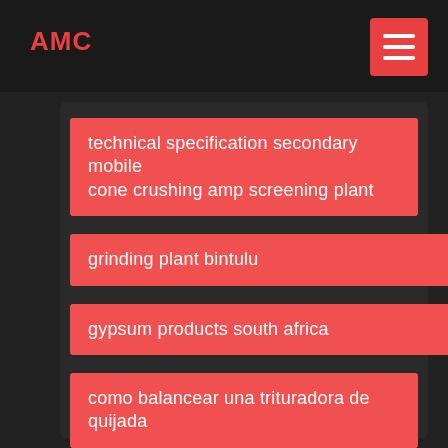AMC
technical specification secondary mobile cone crushing amp screening plant
grinding plant bintulu
gypsum products south africa
como balancear una trituradora de quijada
magnetic separation science
crusher china production of underground structure construction